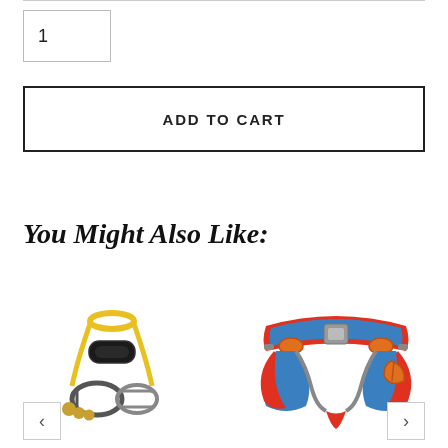1
ADD TO CART
You Might Also Like:
[Figure (photo): Yellow and black quickdraw/carabiner with yellow sling and two carabiners with golden/brass colored balls on the ends]
[Figure (photo): Red and blue climbing harness with orange and gray accents and carabiners attached]